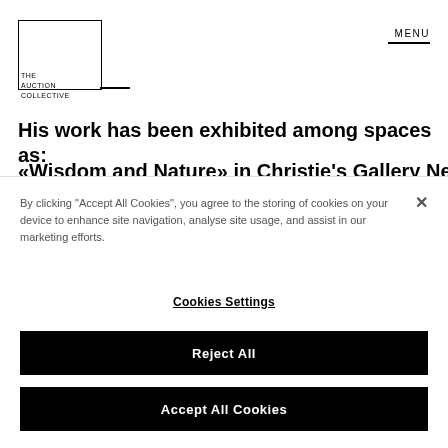[Figure (logo): The Auction Collective logo — rectangular box outline with text 'THE AUCTION COLLECTIVE' inside/beside]
MENU
His work has been exhibited among spaces as:
«Wisdom and Nature» in Christie's Gallery New York
By clicking "Accept All Cookies", you agree to the storing of cookies on your device to enhance site navigation, analyse site usage, and assist in our marketing efforts.
Cookies Settings
Reject All
Accept All Cookies